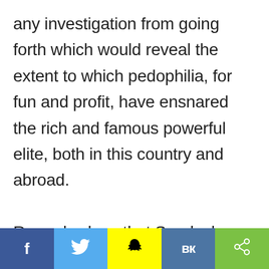any investigation from going forth which would reveal the extent to which pedophilia, for fun and profit, have ensnared the rich and famous powerful elite, both in this country and abroad.

Records show that Sandusky should have been convicted of child molestation in 1999 when allegations
f  [twitter]  [snapchat]  VK  [share]